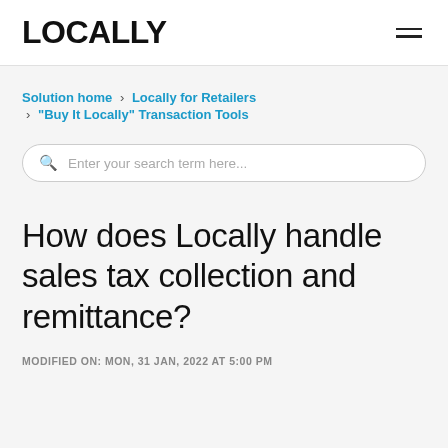LOCALLY
Solution home › Locally for Retailers › "Buy It Locally" Transaction Tools
[Figure (other): Search box with placeholder text: Enter your search term here...]
How does Locally handle sales tax collection and remittance?
MODIFIED ON: MON, 31 JAN, 2022 AT 5:00 PM